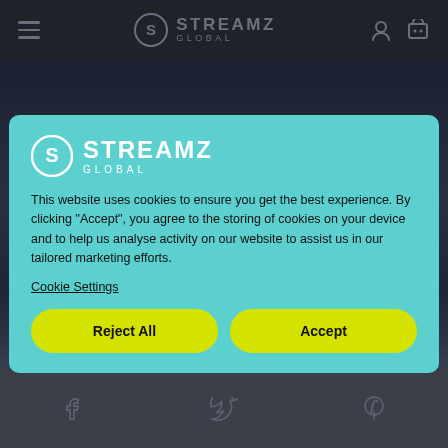[Figure (screenshot): Streamz Global website navbar with hamburger menu icon on left, Streamz Global logo in center, user and cart icons on right, dark background]
[Figure (screenshot): Dark background scene showing a website background behind cookie consent modal]
[Figure (logo): Streamz Global logo inside cookie consent modal — circular S icon with STREAMZ GLOBAL text in white on teal background]
This website uses cookies to ensure you get the best experience. By clicking "Accept", you agree to the storing of cookies on your device and to help us analyse activity on our website to assist us in our tailored marketing efforts.
Cookie Settings
Reject All
Accept
[Figure (screenshot): Website footer with Facebook, Twitter, and Pinterest social icons on grey background]